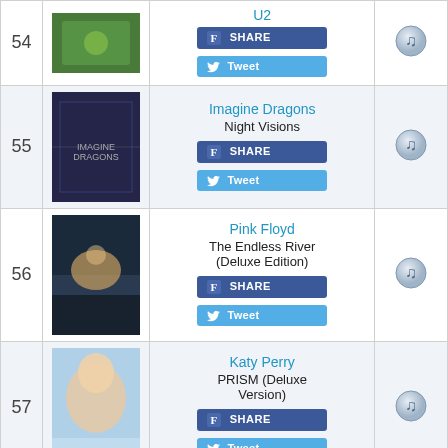| # | Cover | Artist / Album | iTunes |
| --- | --- | --- | --- |
| 54 | [album art] | U2 / [album] / Share / Tweet | [iTunes icon] |
| 55 | [album art] | Imagine Dragons / Night Visions / Share / Tweet | [iTunes icon] |
| 56 | [album art] | Pink Floyd / The Endless River (Deluxe Edition) / Share / Tweet | [iTunes icon] |
| 57 | [album art] | Katy Perry / PRISM (Deluxe Version) / Share / Tweet | [iTunes icon] |
| 58 | [album art] | Roberto Carlos / Roberto Carlos: En Vivo / Share | [iTunes icon] |